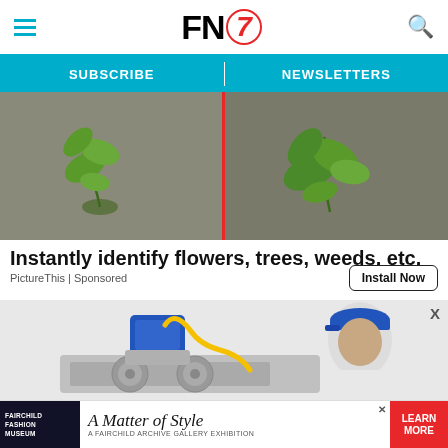FN7 — Footwear News website header with hamburger menu, FN7 logo, and search icon
SUBSCRIBE | NEWSLETTERS
[Figure (photo): Split image showing two green plant seedlings growing from soil, divided by a red vertical line in the center]
Instantly identify flowers, trees, weeds, etc.
PictureThis | Sponsored
Install Now
[Figure (photo): Advertisement showing an AC unit with a vacuum pump and yellow hose, and a man in a blue cap looking at it]
[Figure (photo): Fairchild Fashion Museum banner ad: 'A Matter of Style — A Fairchild Archive Gallery Exhibition' with LEARN MORE button]